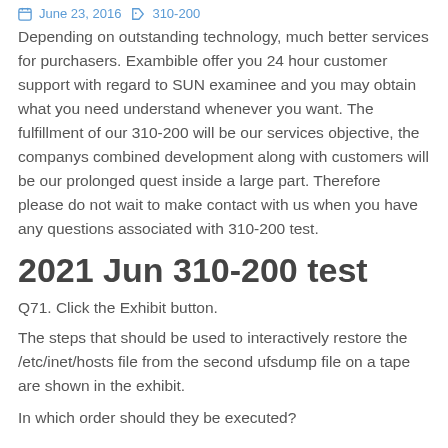June 23, 2016   310-200
Depending on outstanding technology, much better services for purchasers. Exambible offer you 24 hour customer support with regard to SUN examinee and you may obtain what you need understand whenever you want. The fulfillment of our 310-200 will be our services objective, the companys combined development along with customers will be our prolonged quest inside a large part. Therefore please do not wait to make contact with us when you have any questions associated with 310-200 test.
2021 Jun 310-200 test
Q71. Click the Exhibit button.
The steps that should be used to interactively restore the /etc/inet/hosts file from the second ufsdump file on a tape are shown in the exhibit.
In which order should they be executed?